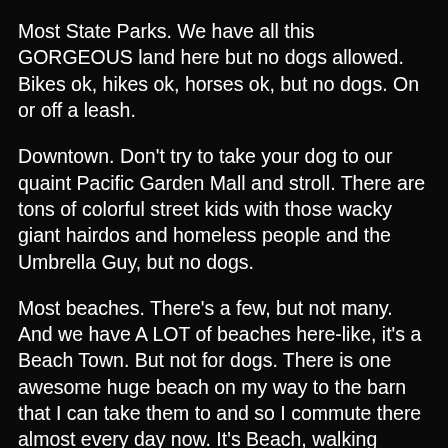Most State Parks. We have all this GORGEOUS land here but no dogs allowed. Bikes ok, hikes ok, horses ok, but no dogs. On or off a leash.
Downtown. Don't try to take your dog to our quaint Pacific Garden Mall and stroll. There are tons of colorful street kids with those wacky giant hairdos and homeless people and the Umbrella Guy, but no dogs.
Most beaches. There's a few, but not many. And we have A LOT of beaches here-like, it's a Beach Town. But not for dogs. There is one awesome huge beach on my way to the barn that I can take them to and so I commute there almost every day now. It's Beach, walking distance from my house, that's part of the whole Lighthouse Field debacle and will become contraband in March.
I keep running into people who ask me how's it going on our property search? And I have to tell them, it blows. There's a serious lack that developed in the financial department. I really never thought we'd still be here in our quaint beach